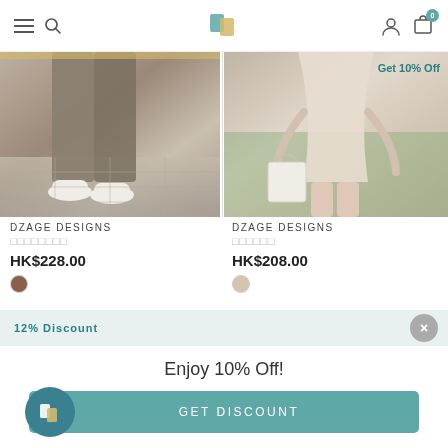Navigation header with hamburger, search, logo, user icon, cart (0)
[Figure (photo): Bottom half of a person wearing wide-leg khaki/linen trousers and white sneakers on a tiled outdoor surface]
[Figure (photo): Person in cream/beige mini dress holding a white tote bag outdoors on green grass, with 'Get 10% Off' label]
DZAGE DESIGNS
□□□□□□□□ (Chinese characters)
HK$228.00
DZAGE DESIGNS
□□□□□□ (Chinese characters)
HK$208.00
12% Discount
Enjoy 10% Off!
GET DISCOUNT